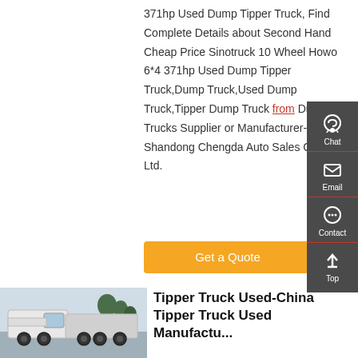371hp Used Dump Tipper Truck, Find Complete Details about Second Hand Cheap Price Sinotruck 10 Wheel Howo 6*4 371hp Used Dump Tipper Truck,Dump Truck,Used Dump Truck,Tipper Dump Truck from Dump Trucks Supplier or Manufacturer-Shandong Chengda Auto Sales Co., Ltd.
[Figure (other): Orange 'Get a Quote' button]
[Figure (infographic): Dark sidebar with Chat (headset icon), Email (envelope icon), Contact (speech bubble icon), and Top (up arrow icon) buttons]
[Figure (photo): Photo of a white heavy-duty truck/tipper truck with trees in background]
Tipper Truck Used-China Tipper Truck Used Manufacturers,